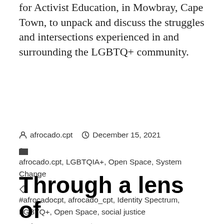for Activist Education, in Mowbray, Cape Town, to unpack and discuss the struggles and intersections experienced in and surrounding the LGBTQ+ community.
afrocado.cpt  December 15, 2021  afrocado.cpt, LGBTQIA+, Open Space, System Change  #afrocadocpt, afrocado_cpt, Identity Spectrum, LGBTQ+, Open Space, social justice  Leave a comment
Through a lens of Intersectionality